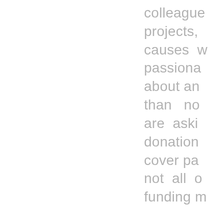colleagues projects, causes we passionate about and than no are asking donations cover pa not all o funding m If I fun 10K research